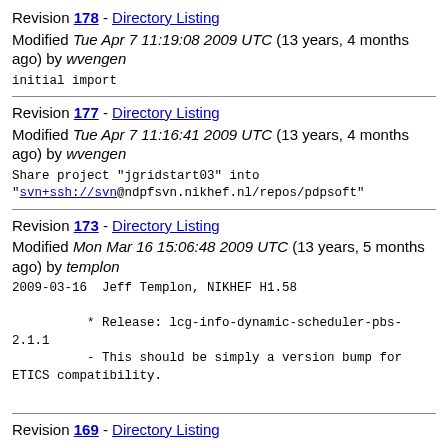Revision 178 - Directory Listing
Modified Tue Apr 7 11:19:08 2009 UTC (13 years, 4 months ago) by wvengen
initial import
Revision 177 - Directory Listing
Modified Tue Apr 7 11:16:41 2009 UTC (13 years, 4 months ago) by wvengen
Share project "jgridstart03" into
"svn+ssh://svn@ndpfsvn.nikhef.nl/repos/pdpsoft"
Revision 173 - Directory Listing
Modified Mon Mar 16 15:06:48 2009 UTC (13 years, 5 months ago) by templon
2009-03-16  Jeff Templon, NIKHEF H1.58

          * Release: lcg-info-dynamic-scheduler-pbs-2.1.1
          - This should be simply a version bump for ETICS compatibility.
Revision 169 - Directory Listing